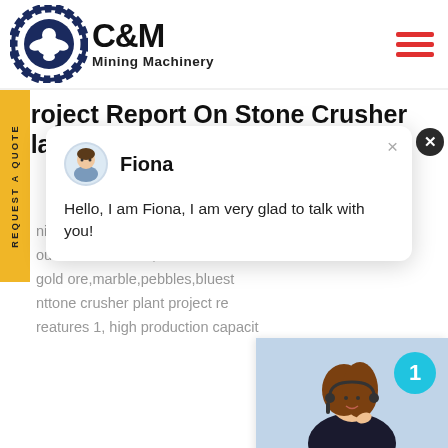[Figure (logo): C&M Mining Machinery logo with eagle/gear icon on left and bold text 'C&M Mining Machinery' on right]
Project Report On Stone Crusher Plant In India
[Figure (illustration): Chat popup widget showing avatar of Fiona with message: Hello, I am Fiona, I am very glad to talk with you!]
nication cone crusher can be us ous ore and stone,such as iron o gold ore,marble,pebbles,bluest nttone crusher plant project re reatures 1, high production capacit
[Figure (photo): Customer support photo of woman with headset, with '1' badge and Click to Chat / Enquiry buttons]